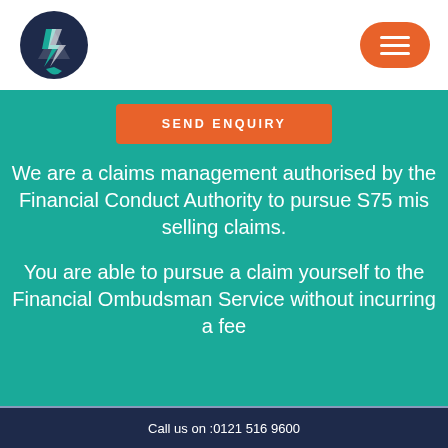[Figure (logo): Company logo — circular dark navy badge with white mountain/lightning bolt icon]
[Figure (other): Orange rounded rectangle hamburger menu button with three white horizontal lines]
SEND ENQUIRY
We are a claims management authorised by the Financial Conduct Authority to pursue S75 mis selling claims.
You are able to pursue a claim yourself to the Financial Ombudsman Service without incurring a fee
Call us on :0121 516 9600